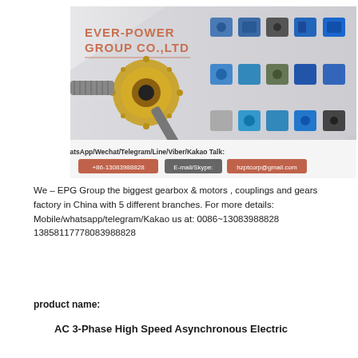[Figure (logo): Ever-Power Group Co.,Ltd company banner showing gearbox products, motors, couplings, worm gears. Contact info: Mobile/WhatsApp/Wechat/Telegram/Line/Viber/Kakao Talk: +86-13083988828, E-mail/Skype: hzptcorp@gmail.com]
We – EPG Group the biggest gearbox & motors , couplings and gears factory in China with 5 different branches. For more details: Mobile/whatsapp/telegram/Kakao us at: 0086~13083988828 13858117778083988828
product name:
AC 3-Phase High Speed Asynchronous Electric